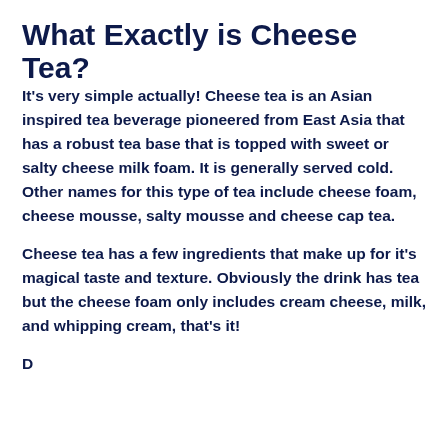What Exactly is Cheese Tea?
It's very simple actually! Cheese tea is an Asian inspired tea beverage pioneered from East Asia that has a robust tea base that is topped with sweet or salty cheese milk foam. It is generally served cold. Other names for this type of tea include cheese foam, cheese mousse, salty mousse and cheese cap tea.
Cheese tea has a few ingredients that make up for it's magical taste and texture. Obviously the drink has tea but the cheese foam only includes cream cheese, milk, and whipping cream, that's it!
D...